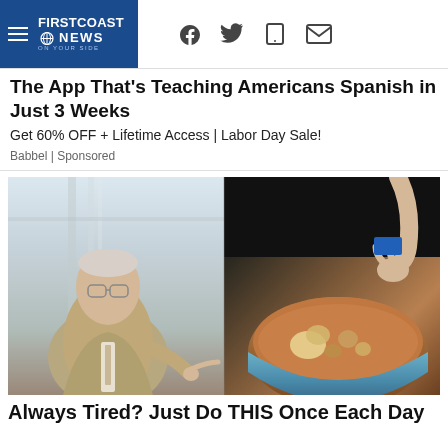FIRST COAST NEWS
The App That's Teaching Americans Spanish in Just 3 Weeks
Get 60% OFF + Lifetime Access | Labor Day Sale!
Babbel | Sponsored
[Figure (photo): Split image: left side shows an older man in a suit and tie with glasses pointing his finger; right side shows hands placing or removing a small object in sandy/earthy terrain with what appear to be shells or nuggets]
Always Tired? Just Do THIS Once Each Day